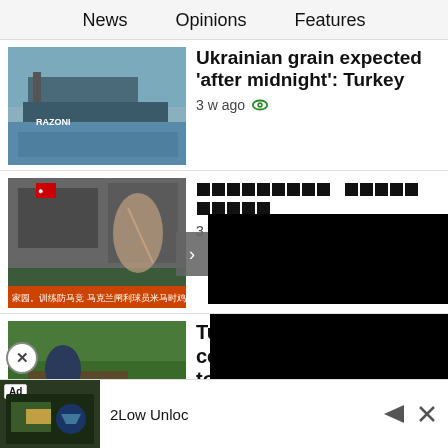News   Opinions   Features
[Figure (photo): Ship with people on deck at port - RAZONI vessel]
Ukrainian grain expected 'after midnight': Turkey
3 w ago
[Figure (photo): Debris/destruction scene overlaid with gymnast performing; Chinese text banner at bottom]
█████████ █████ █████
3 w ago
[Figure (photo): Person in cap near farm vehicle in green field]
Tug-o celebrates its tank towing farmers
[Figure (screenshot): Advertisement banner: Ad badge, image of vehicle/map, text '2Low Unloc', action buttons]